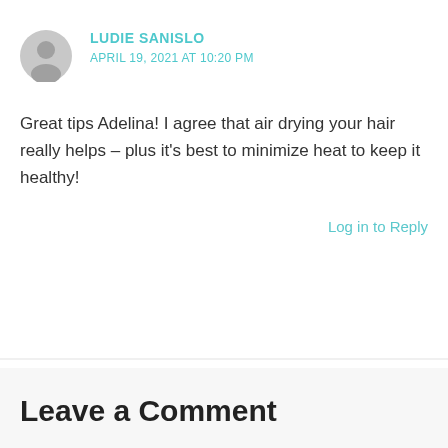[Figure (illustration): Generic user avatar icon — grey circle with silhouette of a person]
LUDIE SANISLO
APRIL 19, 2021 AT 10:20 PM
Great tips Adelina! I agree that air drying your hair really helps – plus it's best to minimize heat to keep it healthy!
Log in to Reply
Leave a Comment